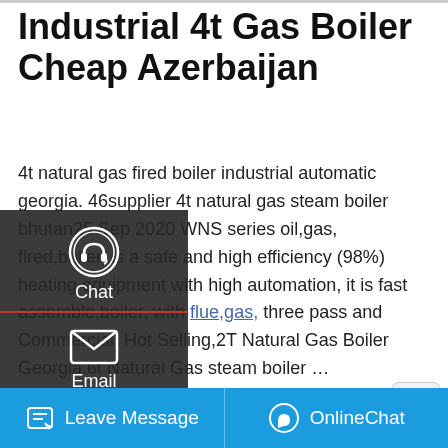Industrial 4t Gas Boiler Cheap Azerbaijan
4t natural gas fired boiler industrial automatic georgia. 46supplier 4t natural gas steam boiler bhutan25 Sep 2020 WNS series oil,gas, fired,boiler, is a safe and high efficiency (98%) heating equipment with high automation, it is fast assemble,boiler, with flue,gas, three pass and Commercial, Hot Selling,2T Natural Gas Boiler Georgia.6t Natural Gas steam boiler …
[Figure (screenshot): Left sidebar overlay with Chat, Email, Contact options on dark background]
[Figure (screenshot): Get a Quote button in golden/yellow color]
[Figure (screenshot): Save Stickers on WhatsApp banner with phone and emoji icons in purple/pink gradient]
[Figure (photo): Industrial gas boiler yellow pipes photo]
[Figure (screenshot): Bottom blue bar with Leave Message and OnlineChat buttons]